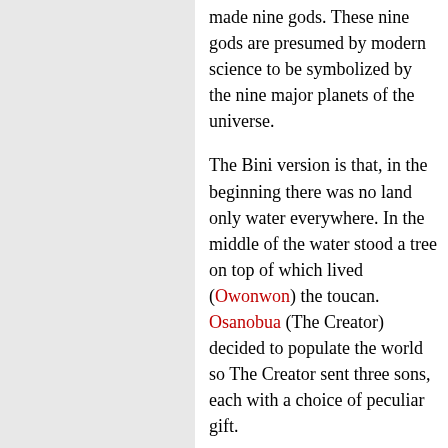made nine gods. These nine gods are presumed by modern science to be symbolized by the nine major planets of the universe.
The Bini version is that, in the beginning there was no land only water everywhere. In the middle of the water stood a tree on top of which lived (Owonwon) the toucan. Osanobua (The Creator) decided to populate the world so The Creator sent three sons, each with a choice of peculiar gift.
One of the three sons chose to have wealth and the next chose magical skills. As the youngest was about to make his choice known, Owonwon cried out to him to settle for a snail shell. This he did. When the canoe the three children were travelling in reached the middle of the waters, the youngest son turned his snail shell upside down to release endless stream of sand resulting in the